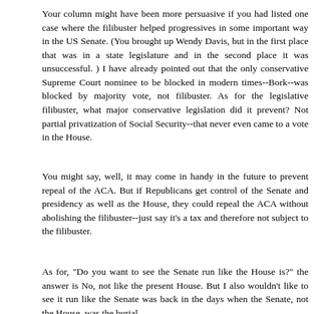Your column might have been more persuasive if you had listed one case where the filibuster helped progressives in some important way in the US Senate. (You brought up Wendy Davis, but in the first place that was in a state legislature and in the second place it was unsuccessful. ) I have already pointed out that the only conservative Supreme Court nominee to be blocked in modern times--Bork--was blocked by majority vote, not filibuster. As for the legislative filibuster, what major conservative legislation did it prevent? Not partial privatization of Social Security--that never even came to a vote in the House.
You might say, well, it may come in handy in the future to prevent repeal of the ACA. But if Republicans get control of the Senate and presidency as well as the House, they could repeal the ACA without abolishing the filibuster--just say it's a tax and therefore not subject to the filibuster.
As for, "Do you want to see the Senate run like the House is?" the answer is No, not like the present House. But I also wouldn't like to see it run like the Senate was back in the days when the Senate, not the House, was the burial